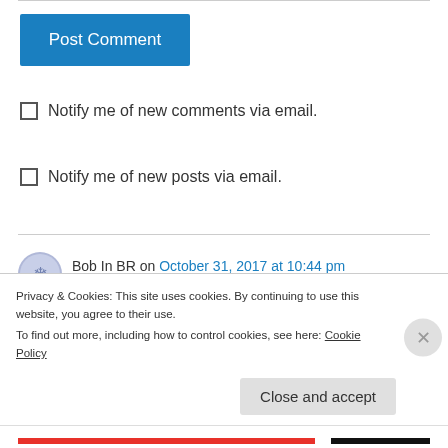[Figure (other): Post Comment button - blue rectangular button with white text]
Notify me of new comments via email.
Notify me of new posts via email.
Bob In BR on October 31, 2017 at 10:44 pm
Yes and Edwards is the most qualified to be our state treasurer. Edwards has a masters degree
Privacy & Cookies: This site uses cookies. By continuing to use this website, you agree to their use.
To find out more, including how to control cookies, see here: Cookie Policy